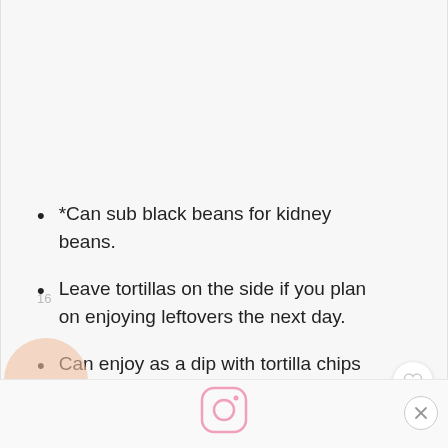*Can sub black beans for kidney beans.
Leave tortillas on the side if you plan on enjoying leftovers the next day.
Can enjoy as a dip with tortilla chips too!